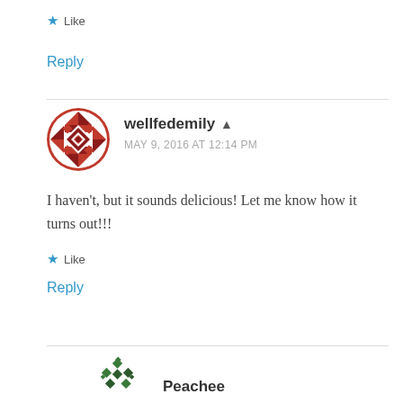★ Like
Reply
[Figure (illustration): Round avatar with dark red geometric quilt-like pattern for user wellfedemily]
wellfedemily ▲
MAY 9, 2016 AT 12:14 PM
I haven't, but it sounds delicious! Let me know how it turns out!!!
★ Like
Reply
[Figure (illustration): Partial round avatar with dark green geometric diamond pattern for user Peachee]
Peachee